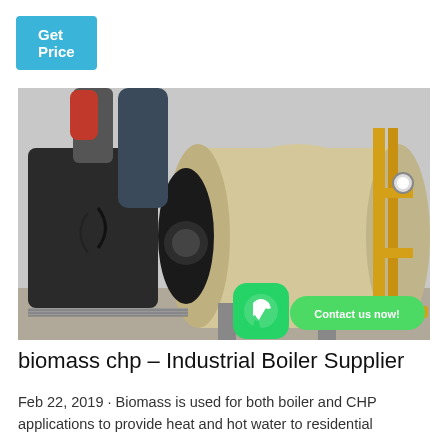Get Price
[Figure (photo): Industrial boiler system in a facility showing large cylindrical boilers, dark pipes, yellow gas pipes, pressure gauges, and mechanical components. WhatsApp icon and 'Contact us now!' green button overlaid at bottom right.]
biomass chp – Industrial Boiler Supplier
Feb 22, 2019 · Biomass is used for both boiler and CHP applications to provide heat and hot water to residential